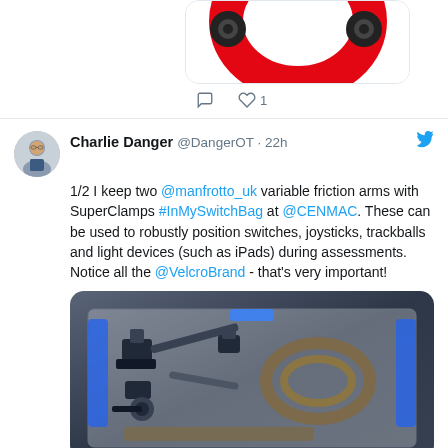[Figure (photo): Partial view of a tweet image — top portion of a circular logo (red arc and black speakers visible, appears to be a TfL/London Underground style logo) inside a white card with rounded corners]
comment icon  heart icon  1
Charlie Danger @DangerOT · 22h
1/2 I keep two @manfrotto_uk variable friction arms with SuperClamps #InMySwitchBag at @CENMAC. These can be used to robustly position switches, joysticks, trackballs and light devices (such as iPads) during assessments. Notice all the @VelcroBrand - that's very important!
[Figure (photo): Photo of a transparent plastic storage box with blue handles containing camera/equipment mounting hardware — variable friction arms, super clamps, and coiled straps/cables, shot from above on a dark surface]